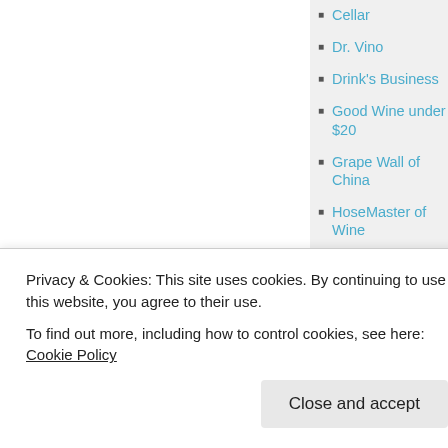Cellar
Dr. Vino
Drink's Business
Good Wine under $20
Grape Wall of China
HoseMaster of Wine
Jameson Fink, Wine Without Worry
Jancis Robinson
Laura Uncorked
Luscious Lushes
Privacy & Cookies: This site uses cookies. By continuing to use this website, you agree to their use.
To find out more, including how to control cookies, see here: Cookie Policy
Close and accept